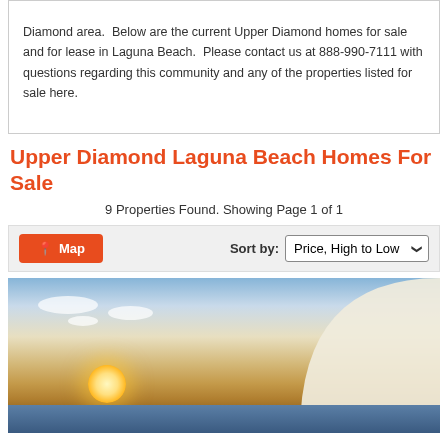Diamond area. Below are the current Upper Diamond homes for sale and for lease in Laguna Beach. Please contact us at 888-990-7111 with questions regarding this community and any of the properties listed for sale here.
Upper Diamond Laguna Beach Homes For Sale
9 Properties Found. Showing Page 1 of 1
[Figure (screenshot): Toolbar with orange Map button on the left and Sort by: Price, High to Low dropdown on the right, on a gray background.]
[Figure (photo): Sunset photo showing a dramatic sky with wispy clouds, a large white architectural arch/structure on the right, a glowing sun near the horizon, and dark water/coastline at the bottom.]